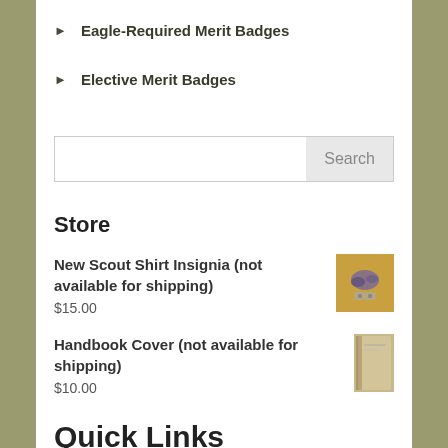Eagle-Required Merit Badges
Elective Merit Badges
Search
Store
New Scout Shirt Insignia (not available for shipping)
$15.00
Handbook Cover (not available for shipping)
$10.00
Quick Links